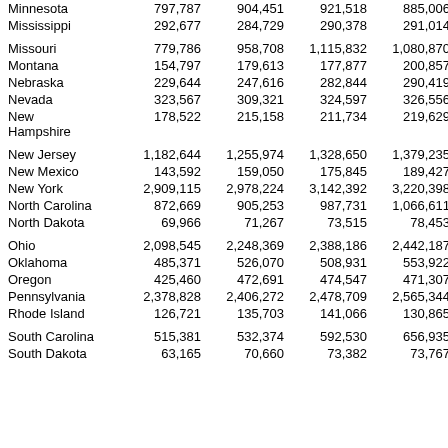| Minnesota | 797,787 | 904,451 | 921,518 | 885,006 | 933,97 |
| Mississippi | 292,677 | 284,729 | 290,378 | 291,014 | 305,51 |
| Missouri | 779,786 | 958,708 | 1,115,832 | 1,080,870 | 1,119,87 |
| Montana | 154,797 | 179,613 | 177,877 | 200,857 | 211,05 |
| Nebraska | 229,644 | 247,616 | 282,844 | 290,419 | 283,14 |
| Nevada | 323,567 | 309,321 | 324,597 | 326,556 | 357,93 |
| New Hampshire | 178,522 | 215,158 | 211,734 | 219,629 | 213,96 |
| New Jersey | 1,182,644 | 1,255,974 | 1,328,650 | 1,379,235 | 1,398,35 |
| New Mexico | 143,592 | 159,050 | 175,845 | 189,427 | 196,12 |
| New York | 2,909,115 | 2,978,224 | 3,142,392 | 3,220,398 | 3,337,49 |
| North Carolina | 872,669 | 905,253 | 987,731 | 1,066,611 | 1,159,11 |
| North Dakota | 69,966 | 71,267 | 73,515 | 78,453 | 83,23 |
| Ohio | 2,098,545 | 2,248,369 | 2,388,186 | 2,442,187 | 2,442,13 |
| Oklahoma | 485,371 | 526,070 | 508,931 | 553,922 | 572,00 |
| Oregon | 425,460 | 472,691 | 474,547 | 471,307 | 506,81 |
| Pennsylvania | 2,378,828 | 2,406,272 | 2,478,709 | 2,565,344 | 2,594,23 |
| Rhode Island | 126,721 | 135,703 | 141,066 | 130,865 | 142,26 |
| South Carolina | 515,381 | 532,374 | 592,530 | 656,935 | 688,11 |
| South Dakota | 63,165 | 70,660 | 73,382 | 73,767 | 76,47 |